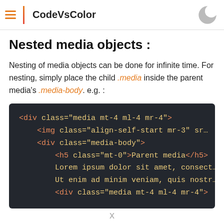CodeVsColor
Nested media objects :
Nesting of media objects can be done for infinite time. For nesting, simply place the child .media inside the parent media's .media-body. e.g. :
[Figure (screenshot): Dark-themed code editor screenshot showing HTML code for nested media objects with Bootstrap classes. Code shown: <div class="media mt-4 ml-4 mr-4">, <img class="align-self-start mr-3" sr, <div class="media-body">, <h5 class="mt-0">Parent media</h5>, Lorem ipsum dolor sit amet, consect, Ut enim ad minim veniam, quis nostr, <div class="media mt-4 ml-4 mr-4">]
x